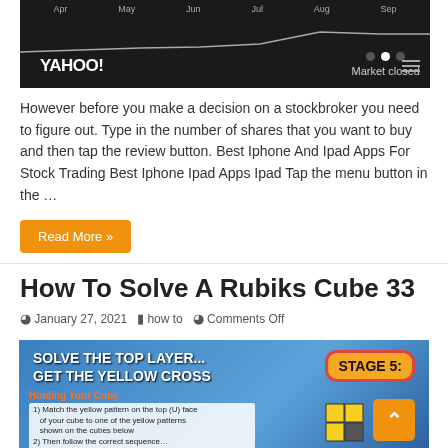[Figure (screenshot): Yahoo Finance stock chart screenshot showing market closed, with month labels (Apr, May, Jun, Jul, Aug, Sep) and a dark background with a flat/rising line chart, navigation dots, hamburger menu icon.]
However before you make a decision on a stockbroker you need to figure out. Type in the number of shares that you want to buy and then tap the review button. Best Iphone And Ipad Apps For Stock Trading Best Iphone Ipad Apps Ipad Tap the menu button in the …
Read More »
How To Solve A Rubiks Cube 33
January 27, 2021   how to   Comments Off
[Figure (infographic): Rubik's Cube solving infographic: 'SOLVE THE TOP LAYER... GET THE YELLOW CROSS' with 'STAGE 5:' badge on right. Bottom section shows 'Holding Your Cube' instructions and a cube diagram.]